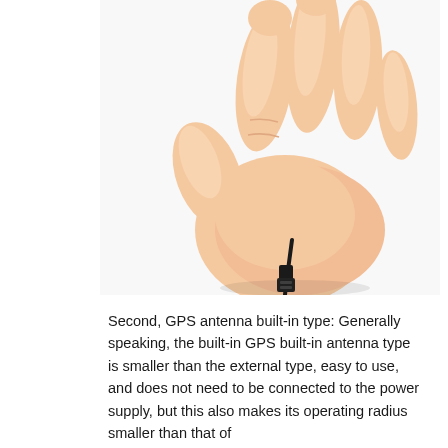[Figure (photo): A hand holding a small black GPS antenna or connector by its thin cable, shown against a white background.]
Second, GPS antenna built-in type: Generally speaking, the built-in GPS built-in antenna type is smaller than the external type, easy to use, and does not need to be connected to the power supply, but this also makes its operating radius smaller than that of